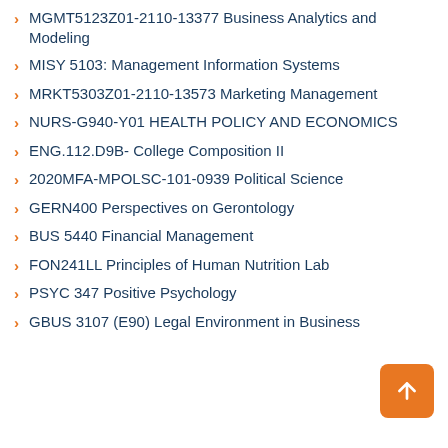MGMT5123Z01-2110-13377 Business Analytics and Modeling
MISY 5103: Management Information Systems
MRKT5303Z01-2110-13573 Marketing Management
NURS-G940-Y01 HEALTH POLICY AND ECONOMICS
ENG.112.D9B- College Composition II
2020MFA-MPOLSC-101-0939 Political Science
GERN400 Perspectives on Gerontology
BUS 5440 Financial Management
FON241LL Principles of Human Nutrition Lab
PSYC 347 Positive Psychology
GBUS 3107 (E90) Legal Environment in Business